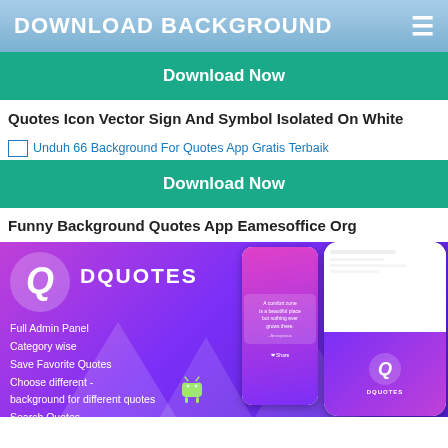DOWNLOAD BACKGROUND
[Figure (screenshot): Green Download Now button]
Quotes Icon Vector Sign And Symbol Isolated On White
[Figure (screenshot): Broken image icon with link: Unduh 66 Background For Quotes App Gratis Terbaik]
[Figure (screenshot): Green Download Now button]
Funny Background Quotes App Eamesoffice Org
[Figure (screenshot): DQUOTES app promotional banner with phone mockups. Features listed: Full Admin Panel, Category wise, Save Favorite Quotes, Choose different - background for different quotes, Search Quotes. Android logo visible.]